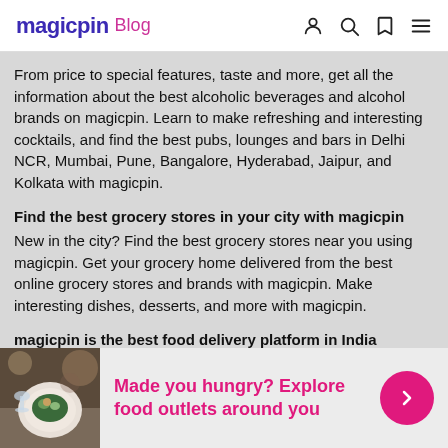magicpin Blog
From price to special features, taste and more, get all the information about the best alcoholic beverages and alcohol brands on magicpin. Learn to make refreshing and interesting cocktails, and find the best pubs, lounges and bars in Delhi NCR, Mumbai, Pune, Bangalore, Hyderabad, Jaipur, and Kolkata with magicpin.
Find the best grocery stores in your city with magicpin
New in the city? Find the best grocery stores near you using magicpin. Get your grocery home delivered from the best online grocery stores and brands with magicpin. Make interesting dishes, desserts, and more with magicpin.
magicpin is the best food delivery platform in India
[Figure (photo): Food plate photo used in the bottom banner]
Made you hungry? Explore food outlets around you